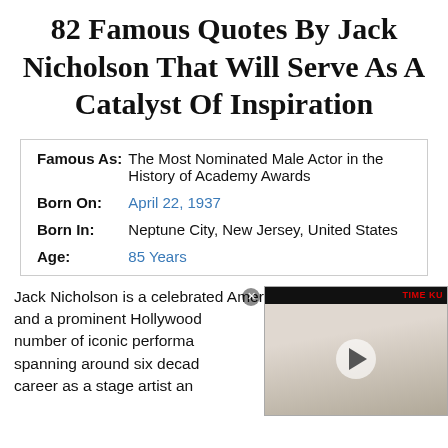82 Famous Quotes By Jack Nicholson That Will Serve As A Catalyst Of Inspiration
| Famous As: | The Most Nominated Male Actor in the History of Academy Awards |
| Born On: | April 22, 1937 |
| Born In: | Neptune City, New Jersey, United States |
| Age: | 85 Years |
Jack Nicholson is a celebrated American filmmaker, and a prominent Hollywood number of iconic performa spanning around six decad career as a stage artist an...